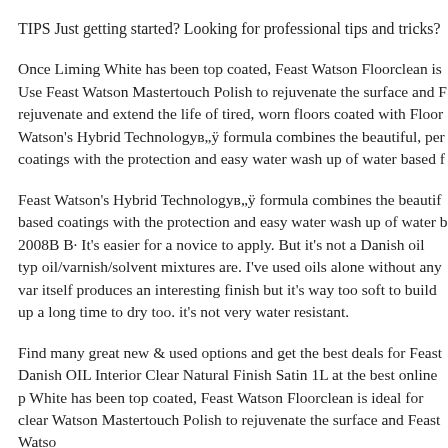TIPS Just getting started? Looking for professional tips and tricks?
Once Liming White has been top coated, Feast Watson Floorclean is Use Feast Watson Mastertouch Polish to rejuvenate the surface and F rejuvenate and extend the life of tired, worn floors coated with Floor Watson's Hybrid Technologyв„ÿ formula combines the beautiful, per coatings with the protection and easy water wash up of water based f
Feast Watson's Hybrid Technologyв„ÿ formula combines the beautifu based coatings with the protection and easy water wash up of water b 2008B B· It's easier for a novice to apply. But it's not a Danish oil typ oil/varnish/solvent mixtures are. I've used oils alone without any var itself produces an interesting finish but it's way too soft to build up a long time to dry too. it's not very water resistant.
Find many great new & used options and get the best deals for Feast Danish OIL Interior Clear Natural Finish Satin 1L at the best online p White has been top coated, Feast Watson Floorclean is ideal for clear Watson Mastertouch Polish to rejuvenate the surface and Feast Watso